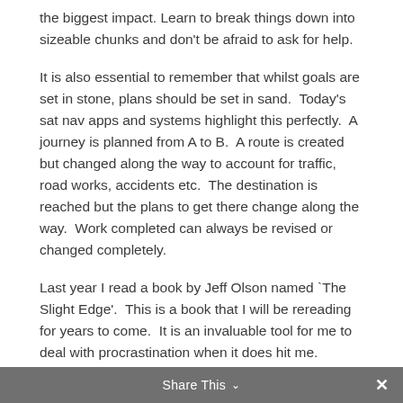the biggest impact. Learn to break things down into sizeable chunks and don't be afraid to ask for help.
It is also essential to remember that whilst goals are set in stone, plans should be set in sand.  Today's sat nav apps and systems highlight this perfectly.  A journey is planned from A to B.  A route is created but changed along the way to account for traffic, road works, accidents etc.  The destination is reached but the plans to get there change along the way.  Work completed can always be revised or changed completely.
Last year I read a book by Jeff Olson named `The Slight Edge'.  This is a book that I will be rereading for years to come.  It is an invaluable tool for me to deal with procrastination when it does hit me.  Essentially, what Jeff says is that
Share This ×